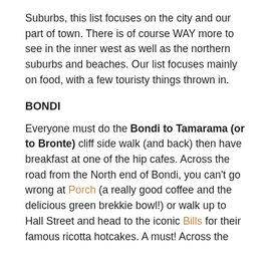Suburbs, this list focuses on the city and our part of town. There is of course WAY more to see in the inner west as well as the northern suburbs and beaches. Our list focuses mainly on food, with a few touristy things thrown in.
BONDI
Everyone must do the Bondi to Tamarama (or to Bronte) cliff side walk (and back) then have breakfast at one of the hip cafes. Across the road from the North end of Bondi, you can't go wrong at Porch (a really good coffee and the delicious green brekkie bowl!) or walk up to Hall Street and head to the iconic Bills for their famous ricotta hotcakes. A must! Across the